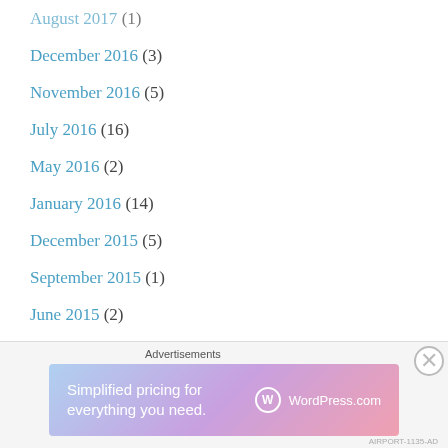August 2017 (1)
December 2016 (3)
November 2016 (5)
July 2016 (16)
May 2016 (2)
January 2016 (14)
December 2015 (5)
September 2015 (1)
June 2015 (2)
May 2015 (2)
April 2015 (3)
March 2015 (6)
[Figure (infographic): WordPress.com advertisement banner: 'Simplified pricing for everything you need.' with WordPress.com logo on a pink-purple-blue gradient background.]